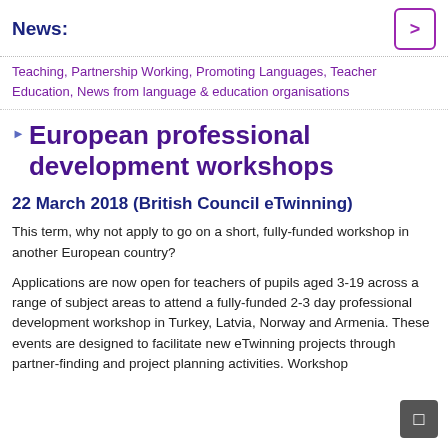News:
Teaching, Partnership Working, Promoting Languages, Teacher Education, News from language & education organisations
European professional development workshops
22 March 2018 (British Council eTwinning)
This term, why not apply to go on a short, fully-funded workshop in another European country?
Applications are now open for teachers of pupils aged 3-19 across a range of subject areas to attend a fully-funded 2-3 day professional development workshop in Turkey, Latvia, Norway and Armenia. These events are designed to facilitate new eTwinning projects through partner-finding and project planning activities. Workshop